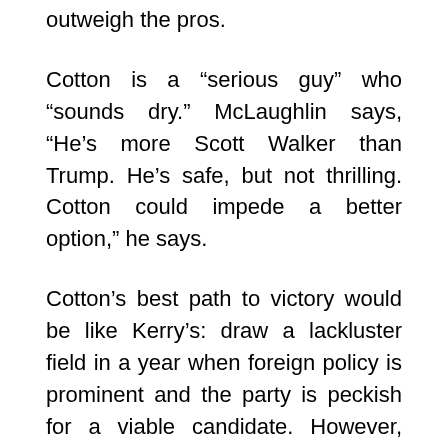outweigh the pros.
Cotton is a “serious guy” who “sounds dry.” McLaughlin says, “He’s more Scott Walker than Trump. He’s safe, but not thrilling. Cotton could impede a better option,” he says.
Cotton’s best path to victory would be like Kerry’s: draw a lackluster field in a year when foreign policy is prominent and the party is peckish for a viable candidate. However, that’s not the GOP field in 2024.
Furthermore, Cotton’s lack of charisma hasn’t stalled Republican donations, activists, and the